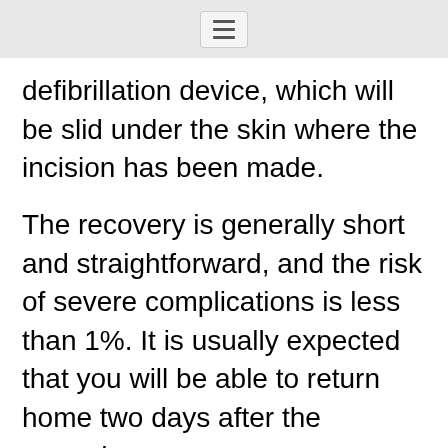defibrillation device, which will be slid under the skin where the incision has been made.
The recovery is generally short and straightforward, and the risk of severe complications is less than 1%. It is usually expected that you will be able to return home two days after the procedure.
What happens after